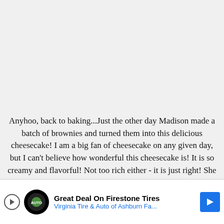Anyhoo, back to baking...Just the other day Madison made a batch of brownies and turned them into this delicious cheesecake! I am a big fan of cheesecake on any given day, but I can't believe how wonderful this cheesecake is! It is so creamy and flavorful! Not too rich either - it is just right! She is amazing!
Brownie Cheesecake
Brownie Ingredients
1/2 cup butter
1 cup [obscured by ad]
2 eggs [obscured by ad]
[Figure (other): Advertisement overlay at bottom of page for 'Great Deal On Firestone Tires - Virginia Tire & Auto of Ashburn Fa...' with a play button, logo, text, and blue arrow icon.]